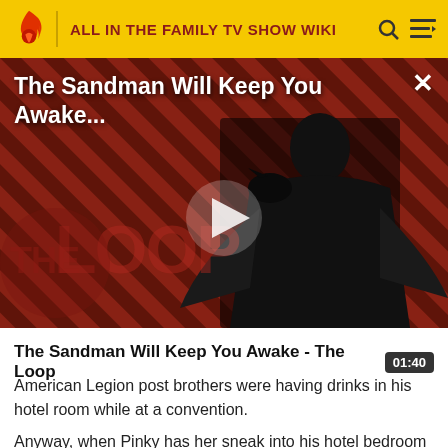ALL IN THE FAMILY TV SHOW WIKI
[Figure (screenshot): Video thumbnail showing The Sandman character in black clothing against a red diagonal striped background with THE LOOP watermark. Play button overlay visible in center. Title 'The Sandman Will Keep You Awake...' displayed at top.]
The Sandman Will Keep You Awake - The Loop
American Legion post brothers were having drinks in his hotel room while at a convention.
Anyway, when Pinky has her sneak into his hotel bedroom